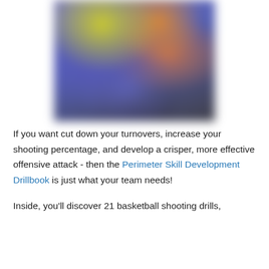[Figure (illustration): Blurred abstract image with blue, orange, yellow, and dark purple color blocks, likely a basketball drillbook cover image]
If you want cut down your turnovers, increase your shooting percentage, and develop a crisper, more effective offensive attack - then the Perimeter Skill Development Drillbook is just what your team needs!
Inside, you'll discover 21 basketball shooting drills,